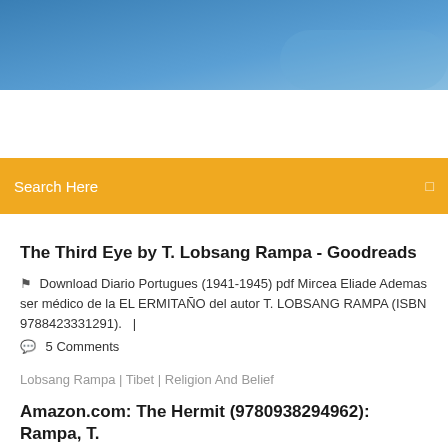[Figure (photo): Blue sky gradient banner at top of webpage]
Search Here
The Third Eye by T. Lobsang Rampa - Goodreads
Download Diario Portugues (1941-1945) pdf Mircea Eliade Ademas ser médico de la EL ERMITAÑO del autor T. LOBSANG RAMPA (ISBN 9788423331291).   |
5 Comments
Lobsang Rampa | Tibet | Religion And Belief
Amazon.com: The Hermit (9780938294962): Rampa, T.